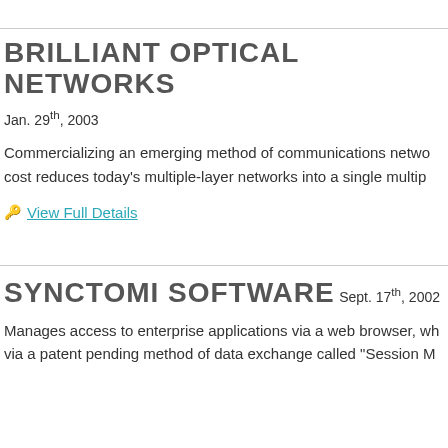BRILLIANT OPTICAL NETWORKS
Jan. 29th, 2003
Commercializing an emerging method of communications network cost reduces today's multiple-layer networks into a single multip…
View Full Details
SYNCTOMI SOFTWARE
Sept. 17th, 2002
Manages access to enterprise applications via a web browser, wh… via a patent pending method of data exchange called "Session M…